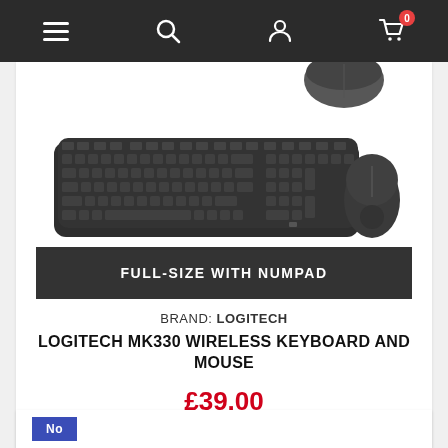Navigation bar with menu, search, account, and cart icons (0 items)
[Figure (photo): Logitech MK330 wireless keyboard and mouse product photo on white background]
FULL-SIZE WITH NUMPAD
BRAND: LOGITECH
LOGITECH MK330 WIRELESS KEYBOARD AND MOUSE
£39.00
Add to cart
In stock